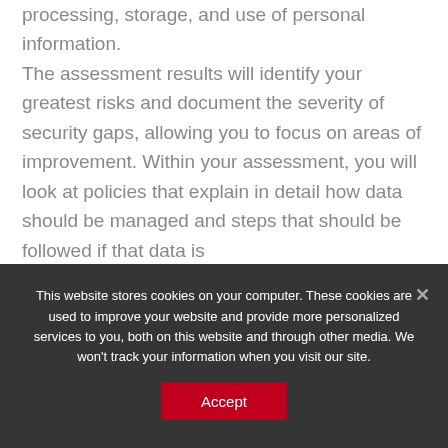processing, storage, and use of personal information. The assessment results will identify your greatest risks and document the severity of security gaps, allowing you to focus on areas of improvement. Within your assessment, you will look at policies that explain in detail how data should be managed and steps that should be followed if that data is
This website stores cookies on your computer. These cookies are used to improve your website and provide more personalized services to you, both on this website and through other media. We won't track your information when you visit our site.
Accept